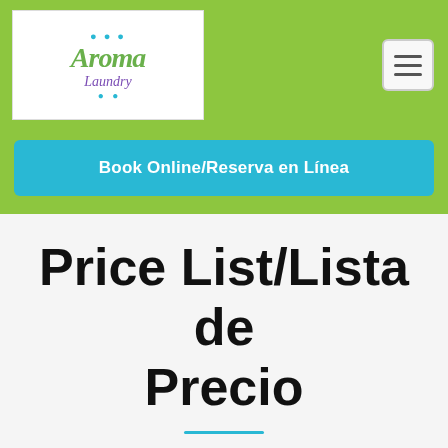[Figure (logo): Aroma Laundry logo with stylized cursive text and bubble graphic on white background]
[Figure (other): Hamburger menu button (three horizontal lines) in a rounded rectangle, top-right of header]
Book Online/Reserva en Línea
Price List/Lista de Precio
Quality and Quantity/ Calidad y Cantidad